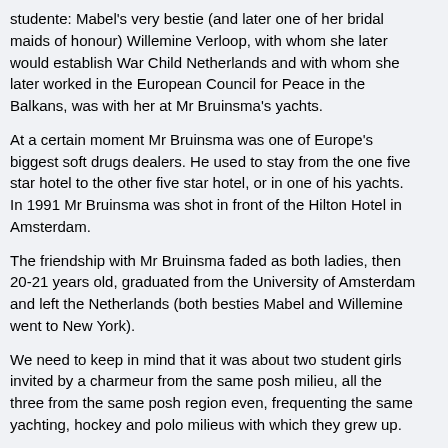studente: Mabel's very bestie (and later one of her bridal maids of honour) Willemine Verloop, with whom she later would establish War Child Netherlands and with whom she later worked in the European Council for Peace in the Balkans, was with her at Mr Bruinsma's yachts.
At a certain moment Mr Bruinsma was one of Europe's biggest soft drugs dealers. He used to stay from the one five star hotel to the other five star hotel, or in one of his yachts. In 1991 Mr Bruinsma was shot in front of the Hilton Hotel in Amsterdam.
The friendship with Mr Bruinsma faded as both ladies, then 20-21 years old, graduated from the University of Amsterdam and left the Netherlands (both besties Mabel and Willemine went to New York).
We need to keep in mind that it was about two student girls invited by a charmeur from the same posh milieu, all the three from the same posh region even, frequenting the same yachting, hockey and polo milieus with which they grew up.
When Prince Friso met Mabel, a decade later, she was so far in her stellar career that the encounters with Mr Bruinsma in her student years were just a detail. But for a marriage with a Prince of the Netherlands a less desirable detail. She chose not to tell she knew Mr Bruinsma. And that was what haunted her. The Prime Minister thought: if you did not tell me this "detail", maybe there are more "details"?